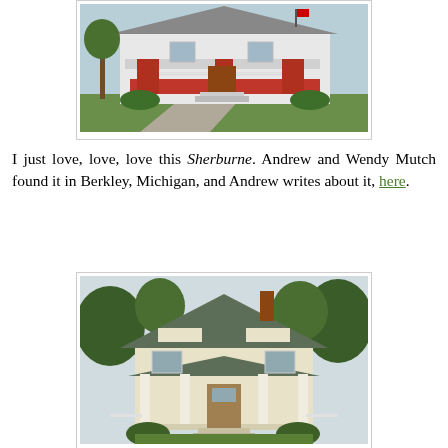[Figure (photo): A white house with a covered front porch with red brick pillars, viewed from the front with a green lawn and driveway.]
I just love, love, love this Sherburne. Andrew and Wendy Mutch found it in Berkley, Michigan, and Andrew writes about it, here.
[Figure (photo): A craftsman-style house with a front porch supported by white columns, dark roof, surrounded by trees and landscaping.]